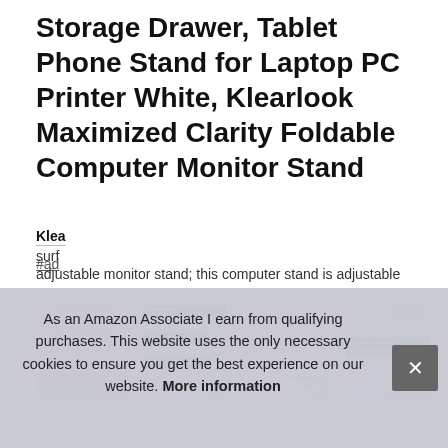Storage Drawer, Tablet Phone Stand for Laptop PC Printer White, Klearlook Maximized Clarity Foldable Computer Monitor Stand
#ad
[Figure (photo): Four product image thumbnails of a computer monitor stand in a horizontal row]
Klea
surf
adjustable monitor stand; this computer stand is adjustable
As an Amazon Associate I earn from qualifying purchases. This website uses the only necessary cookies to ensure you get the best experience on our website. More information